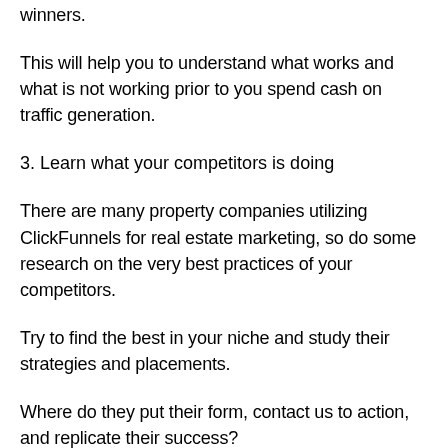winners.
This will help you to understand what works and what is not working prior to you spend cash on traffic generation.
3. Learn what your competitors is doing
There are many property companies utilizing ClickFunnels for real estate marketing, so do some research on the very best practices of your competitors.
Try to find the best in your niche and study their strategies and placements.
Where do they put their form, contact us to action, and replicate their success?